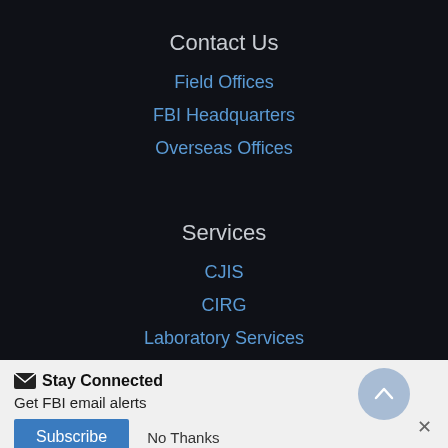Contact Us
Field Offices
FBI Headquarters
Overseas Offices
Services
CJIS
CIRG
Laboratory Services
Stay Connected
Get FBI email alerts
Subscribe
No Thanks